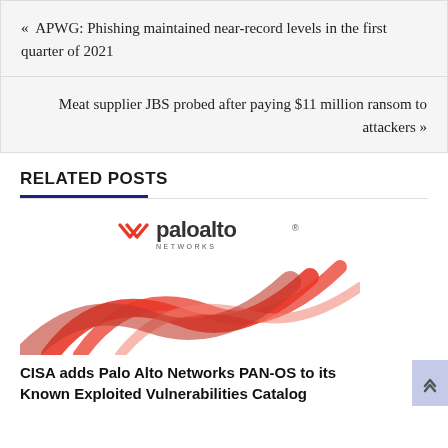« APWG: Phishing maintained near-record levels in the first quarter of 2021
Meat supplier JBS probed after paying $11 million ransom to attackers »
RELATED POSTS
[Figure (logo): Palo Alto Networks logo with red swoosh graphic]
CISA adds Palo Alto Networks PAN-OS to its Known Exploited Vulnerabilities Catalog